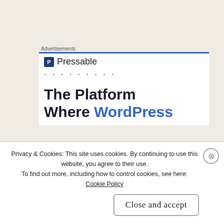Advertisements
[Figure (screenshot): Pressable advertisement banner showing the Pressable logo with icon, dots, and headline text 'The Platform Where WordPress' in dark and blue bold text on white background]
“I know,” I sighed. “I still can’t help but feel like my every
m
Privacy & Cookies: This site uses cookies. By continuing to use this website, you agree to their use. To find out more, including how to control cookies, see here: Cookie Policy
Close and accept